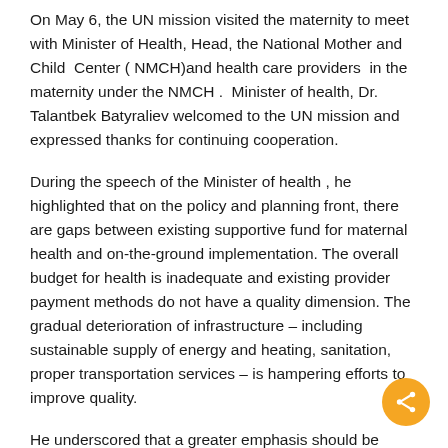On May 6, the UN mission visited the maternity to meet with Minister of Health, Head, the National Mother and Child Center ( NMCH)and health care providers in the maternity under the NMCH . Minister of health, Dr. Talantbek Batyraliev welcomed to the UN mission and expressed thanks for continuing cooperation.
During the speech of the Minister of health , he highlighted that on the policy and planning front, there are gaps between existing supportive fund for maternal health and on-the-ground implementation. The overall budget for health is inadequate and existing provider payment methods do not have a quality dimension. The gradual deterioration of infrastructure – including sustainable supply of energy and heating, sanitation, proper transportation services – is hampering efforts to improve quality.
He underscored that a greater emphasis should be placed on working with other Ministries and investment in accessing of water, sewage and infrastructure. He emphasized that Ministry of Health continues